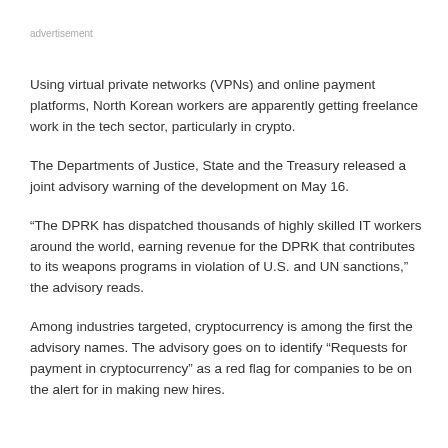advertisement
Using virtual private networks (VPNs) and online payment platforms, North Korean workers are apparently getting freelance work in the tech sector, particularly in crypto.
The Departments of Justice, State and the Treasury released a joint advisory warning of the development on May 16.
“The DPRK has dispatched thousands of highly skilled IT workers around the world, earning revenue for the DPRK that contributes to its weapons programs in violation of U.S. and UN sanctions,” the advisory reads.
Among industries targeted, cryptocurrency is among the first the advisory names. The advisory goes on to identify “Requests for payment in cryptocurrency” as a red flag for companies to be on the alert for in making new hires.